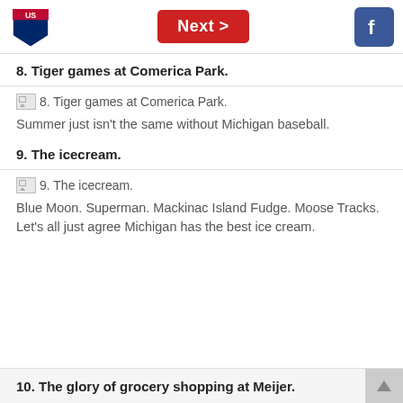[Figure (logo): US Interstate shield logo in top left]
[Figure (screenshot): Red Next button with right arrow chevron in center of top bar]
[Figure (logo): Facebook f logo icon in blue square, top right]
8. Tiger games at Comerica Park.
[Figure (photo): Broken image placeholder for item 8. Tiger games at Comerica Park.]
Summer just isn’t the same without Michigan baseball.
9. The icecream.
[Figure (photo): Broken image placeholder for item 9. The icecream.]
Blue Moon. Superman. Mackinac Island Fudge. Moose Tracks. Let’s all just agree Michigan has the best ice cream.
10. The glory of grocery shopping at Meijer.